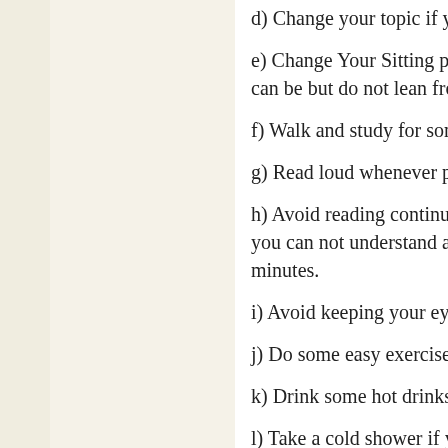d) Change your topic if you feel sleepy. Read some interesting s
e) Change Your Sitting positions frequently. It will stimulate your can be but do not lean from your straight pose.
f) Walk and study for some time. The physical activity caused by
g) Read loud whenever possible.
h) Avoid reading continuously with out break, which will cause se you can not understand anything in this process. After every one minutes.
i) Avoid keeping your eyes too much close to your books. It will b
j) Do some easy exercises if you feel sleepy
k) Drink some hot drinks in your study breaks.
l) Take a cold shower if your health is normal or Wash your face
m) Drink water eventually, so that you have to hit the restroom o good for health.
n) Study in groups to avoid sleep, it really works. If you are in ho